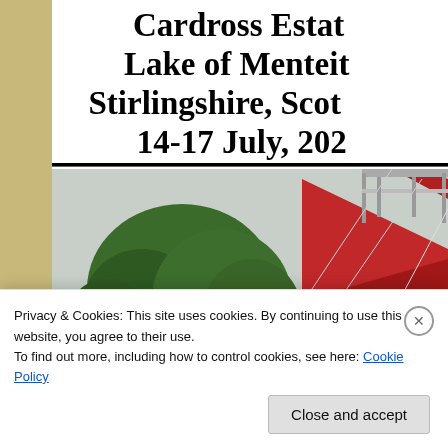Cardross Estate, Lake of Menteith, Stirlingshire, Scotland, 14-17 July, 202_
[Figure (photo): Outdoor festival scene showing large red circus/festival tent with steel truss structure on the right, and a large green tree on the left against an overcast sky.]
Privacy & Cookies: This site uses cookies. By continuing to use this website, you agree to their use.
To find out more, including how to control cookies, see here: Cookie Policy
Close and accept